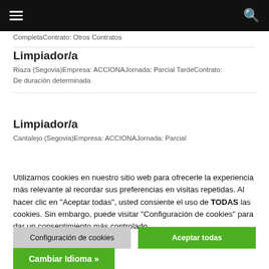≡  🔍
CompletaContrato: Otros Contratos
Limpiador/a
Riaza (Segovia)Empresa: ACCIONAJornada: Parcial TardeContrato: De duración determinada
Limpiador/a
Cantalejo (Segovia)Empresa: ACCIONAJornada: Parcial
Utilizamos cookies en nuestro sitio web para ofrecerle la experiencia más relevante al recordar sus preferencias en visitas repetidas. Al hacer clic en "Aceptar todas", usted consiente el uso de TODAS las cookies. Sin embargo, puede visitar "Configuración de cookies" para dar un consentimiento más controlado.
Configuración de cookies
Aceptar todas
Cambiar Idioma »